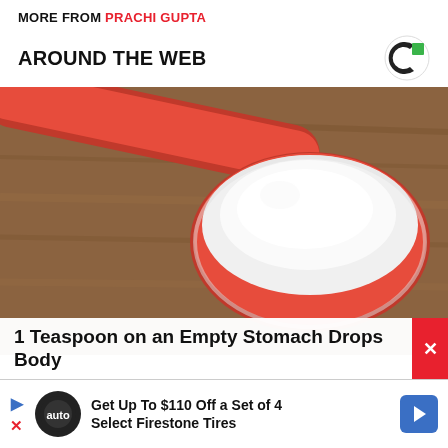MORE FROM PRACHI GUPTA
AROUND THE WEB
[Figure (photo): Close-up photo of a red measuring spoon filled with white powder (flour or similar), resting on a wooden surface.]
1 Teaspoon on an Empty Stomach Drops Body
Get Up To $110 Off a Set of 4 Select Firestone Tires